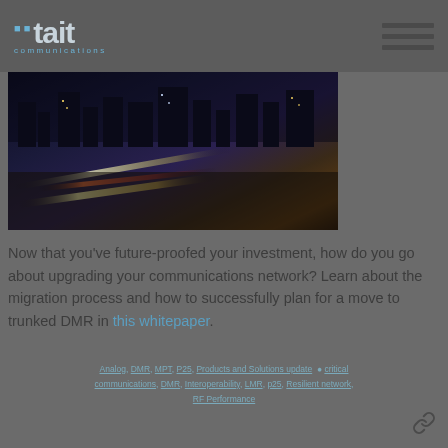tait communications
[Figure (photo): Night cityscape with light trails from car traffic on a highway, tall illuminated buildings in the background]
Now that you’ve future-proofed your investment, how do you go about upgrading your communications network? Learn about the migration process and how to successfully plan for a move to trunked DMR in this whitepaper.
Analog, DMR, MPT, P25, Products and Solutions update • critical communications, DMR, Interoperability, LMR, p25, Resilient network, RF Performance